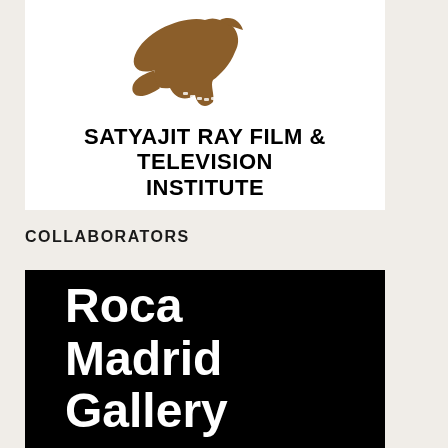[Figure (logo): Satyajit Ray Film & Television Institute logo with a brown stylized bird/camera shape above bold black uppercase text]
COLLABORATORS
[Figure (logo): Roca Madrid Gallery logo: white bold text on black background reading 'Roca Madrid Gallery']